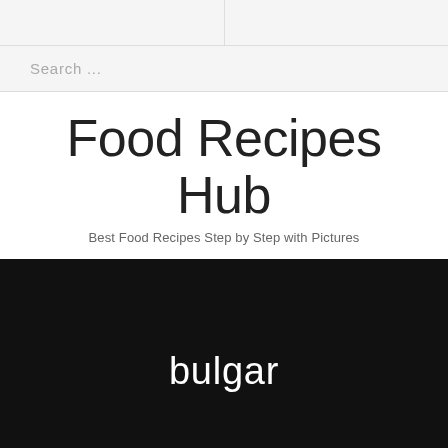Search ...
Food Recipes Hub
Best Food Recipes Step by Step with Pictures
[Figure (photo): Dark hero banner with white text reading 'bulgar' centered on a black background]